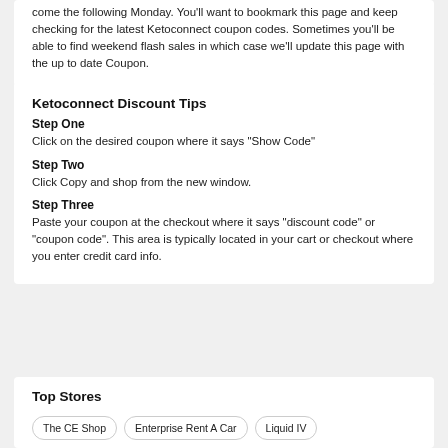come the following Monday. You'll want to bookmark this page and keep checking for the latest Ketoconnect coupon codes. Sometimes you'll be able to find weekend flash sales in which case we'll update this page with the up to date Coupon.
Ketoconnect Discount Tips
Step One
Click on the desired coupon where it says "Show Code"
Step Two
Click Copy and shop from the new window.
Step Three
Paste your coupon at the checkout where it says "discount code" or "coupon code". This area is typically located in your cart or checkout where you enter credit card info.
Top Stores
The CE Shop
Enterprise Rent A Car
Liquid IV